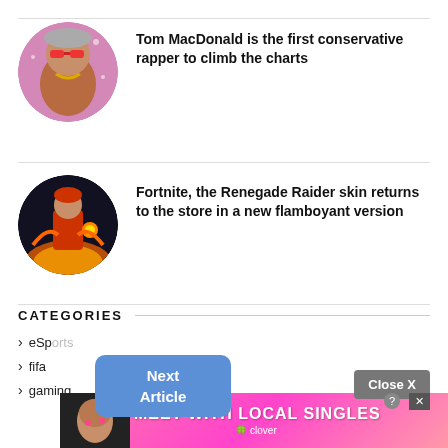[Figure (photo): Circular thumbnail of Tom MacDonald, a rapper, in a pink/magenta background with sparkles]
Tom MacDonald is the first conservative rapper to climb the charts
[Figure (photo): Circular thumbnail of Fortnite Renegade Raider skin character with fire/orange color scheme]
Fortnite, the Renegade Raider skin returns to the store in a new flamboyant version
CATEGORIES
eSp[orts]
fifa
gaming